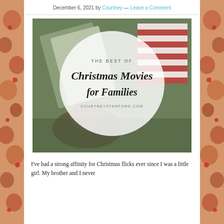December 6, 2021 by Courtney — Leave a Comment
[Figure (photo): Featured blog post image with a circular overlay on a photo of Christmas movie DVDs on grass. The overlay contains the text 'THE BEST OF Christmas Movies for Families' and 'COURTNEYSTANFORD.COM' in script and sans-serif fonts.]
I've had a strong affinity for Christmas flicks ever since I was a little girl. My brother and I never